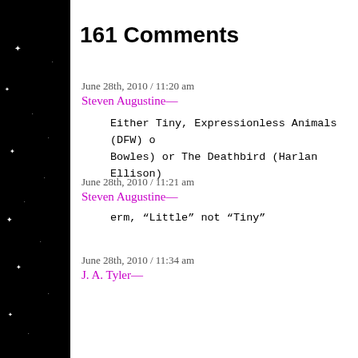161 Comments
June 28th, 2010 / 11:20 am
Steven Augustine—
Either Tiny, Expressionless Animals (DFW) o... Bowles) or The Deathbird (Harlan Ellison)
June 28th, 2010 / 11:21 am
Steven Augustine—
erm, “Little” not “Tiny”
June 28th, 2010 / 11:34 am
J. A. Tyler—